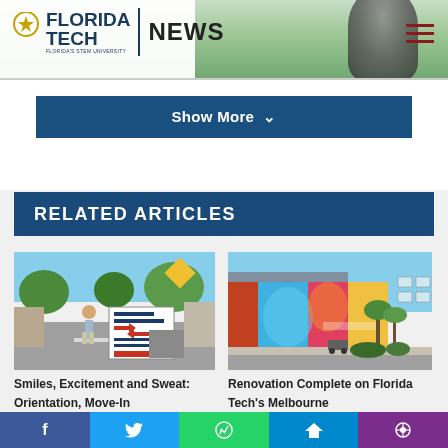FLORIDA TECH NEWS
Show More
RELATED ARTICLES
[Figure (photo): Street scene with Roberts Hall and Roberts Parking signs, student walking on campus during Orientation/Move-In]
Smiles, Excitement and Sweat: Orientation, Move-In
[Figure (photo): Colorful mural on building exterior with palm trees - Renovation Complete on Florida Tech's Melbourne project (Harlow building)]
Renovation Complete on Florida Tech's Melbourne